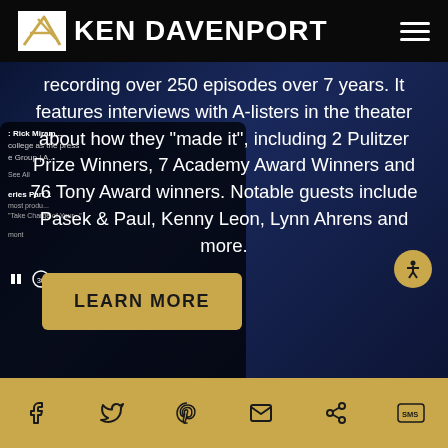KEN DAVENPORT
recording over 250 episodes over 7 years. It features interviews with A-listers in the theater about how they "made it", including 2 Pulitzer Prize Winners, 7 Academy Award Winners and 76 Tony Award winners. Notable guests include Pasek & Paul, Kenny Leon, Lynn Ahrens and more.
LEARN MORE
Social share icons: Facebook, Twitter, Pinterest, Email, Share, SMS